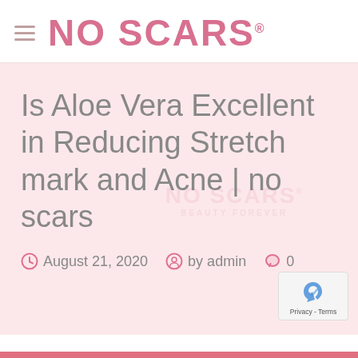NO SCARS
Is Aloe Vera Excellent in Reducing Stretch mark and Acne | no scars
August 21, 2020   by admin   0